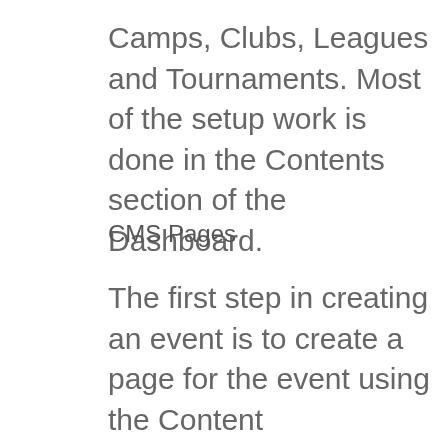Camps, Clubs, Leagues and Tournaments. Most of the setup work is done in the Contents section of the Dashboard.
CMS Pages
The first step in creating an event is to create a page for the event using the Content Management System (CMS). The CMS is designed to be as user friendly as possible and should be fairly familiar to anyone who has used any word processing applications like MS